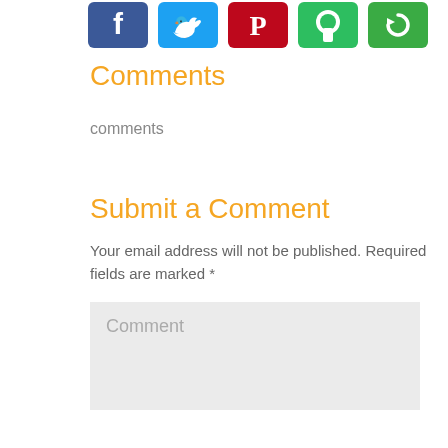[Figure (illustration): Row of social media share buttons: Facebook (blue), Twitter (light blue), Pinterest (red), Evernote (green), and another green button with a circular arrow icon, partially cropped]
Comments
comments
Submit a Comment
Your email address will not be published. Required fields are marked *
[Figure (screenshot): Comment text input area with placeholder text 'Comment' on a light grey background]